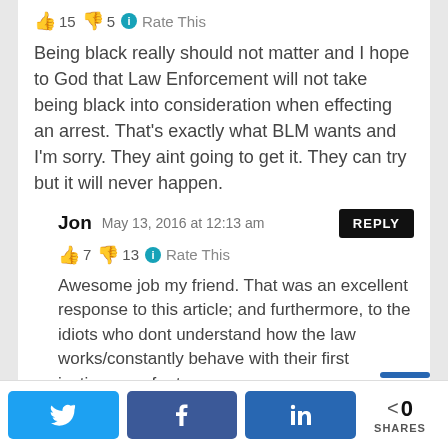👍 15 👎 5 ℹ Rate This
Being black really should not matter and I hope to God that Law Enforcement will not take being black into consideration when effecting an arrest. That's exactly what BLM wants and I'm sorry. They aint going to get it. They can try but it will never happen.
Jon  May 13, 2016 at 12:13 am  REPLY
👍 7 👎 13 ℹ Rate This
Awesome job my friend. That was an excellent response to this article; and furthermore, to the idiots who dont understand how the law works/constantly behave with their first instincs...as far too